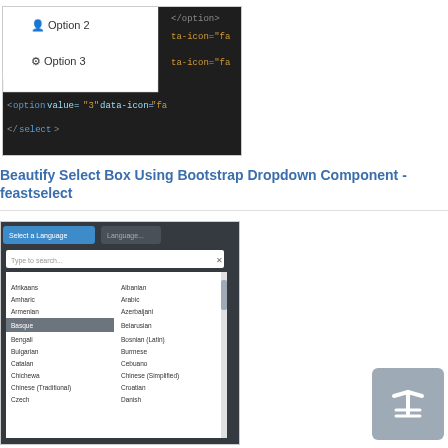[Figure (screenshot): Screenshot of a Bootstrap dropdown select box with code showing option tags with data-icon attributes, options labeled 'Option 2' and 'Option 3' visible in a dark-themed code editor]
Beautify Select Box Using Bootstrap Dropdown Component - feastselect
[Figure (screenshot): Screenshot of a multi-column dropdown select showing a language selector with two columns of languages like Afrikaans, Amharic, Armenian, Basque, Bengali, Bulgarian, Catalan, Chichewa, Chinese (Traditional), Czech on the left and Albanian, Arabic, Azerbaijani, Belarusian, Bosnian (Latin), Burmese, Cebuano, Chinese (Simplified), Croatian, Danish on the right, with a search box at top]
Multi-column Dropdown Select With jQuery And Bootstrap 5